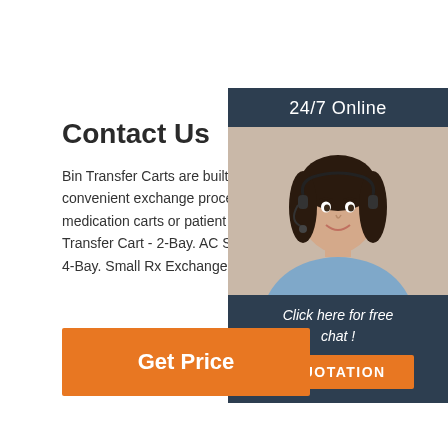Contact Us
Bin Transfer Carts are built to facilitate a comfortable and convenient exchange process between the pharmacy and medication carts or patient units. AC Series - Bin Cassette Transfer Cart - 2-Bay. AC Series - Bin Cassette Transfer Cart - 4-Bay. Small Rx Exchange Cart.
[Figure (photo): Customer service representative woman with headset, smiling, with '24/7 Online' header and 'Click here for free chat!' and 'QUOTATION' button overlay on dark blue sidebar]
Get Price